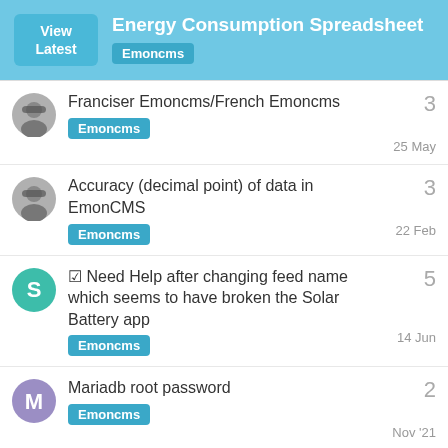Energy Consumption Spreadsheet — Emoncms
Franciser Emoncms/French Emoncms — Emoncms — 25 May — 3 replies
Accuracy (decimal point) of data in EmonCMS — Emoncms — 22 Feb — 3 replies
☑ Need Help after changing feed name which seems to have broken the Solar Battery app — Emoncms — 14 Jun — 5 replies
Mariadb root password — Emoncms — Nov '21 — 2 replies
Want to read more? Browse other topics in